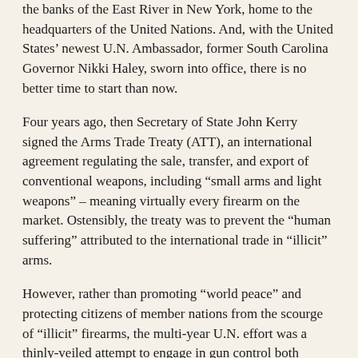the banks of the East River in New York, home to the headquarters of the United Nations. And, with the United States' newest U.N. Ambassador, former South Carolina Governor Nikki Haley, sworn into office, there is no better time to start than now.
Four years ago, then Secretary of State John Kerry signed the Arms Trade Treaty (ATT), an international agreement regulating the sale, transfer, and export of conventional weapons, including “small arms and light weapons” – meaning virtually every firearm on the market. Ostensibly, the treaty was to prevent the “human suffering” attributed to the international trade in “illicit” arms.
However, rather than promoting “world peace” and protecting citizens of member nations from the scourge of “illicit” firearms, the multi-year U.N. effort was a thinly-veiled attempt to engage in gun control both internationally and domestically within member nations.
Under the decisive leadership of the Bush Administration’s then-Undersecretary of State (and, later, acting Ambassador to the U.N.) John Bolton, the U.S. made clear it would neither support nor allow to be adopted any international instrument that directly or indirectly infringe upon constitutionally protected rights. No one…